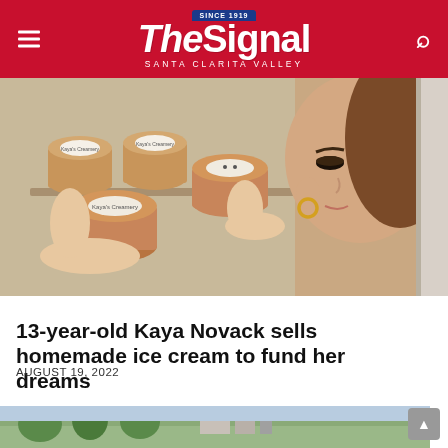The Signal — SANTA CLARITA VALLEY — SINCE 1919
[Figure (photo): A young woman with brown hair and gold hoop earrings reaches into a freezer, holding small brown paper ice cream cups with branded lids. Multiple cups are stacked on the freezer shelves.]
13-year-old Kaya Novack sells homemade ice cream to fund her dreams
AUGUST 19, 2022
[Figure (photo): Partially visible outdoor scene at the bottom of the page, showing greenery and buildings.]